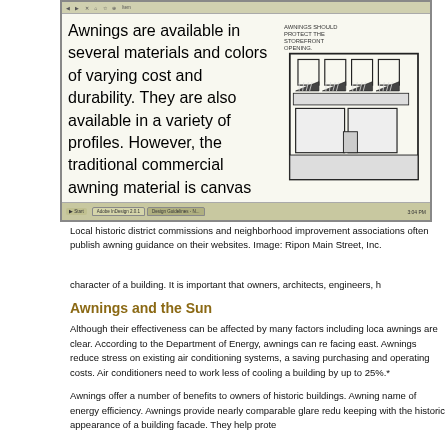[Figure (screenshot): Browser screenshot showing a design guidelines document with sections on awnings (materials, colors, profiles), Signage, and Placement, with a black-and-white illustration of a storefront with awnings on the right side. Browser chrome with taskbar visible at bottom.]
Local historic district commissions and neighborhood improvement associations often publish awning guidance on their websites. Image: Ripon Main Street, Inc.
character of a building. It is important that owners, architects, engineers, h
Awnings and the Sun
Although their effectiveness can be affected by many factors including loca awnings are clear. According to the Department of Energy, awnings can re facing east. Awnings reduce stress on existing air conditioning systems, a saving purchasing and operating costs. Air conditioners need to work less of cooling a building by up to 25%.*
Awnings offer a number of benefits to owners of historic buildings. Awning name of energy efficiency. Awnings provide nearly comparable glare redu keeping with the historic appearance of a building facade. They help prote